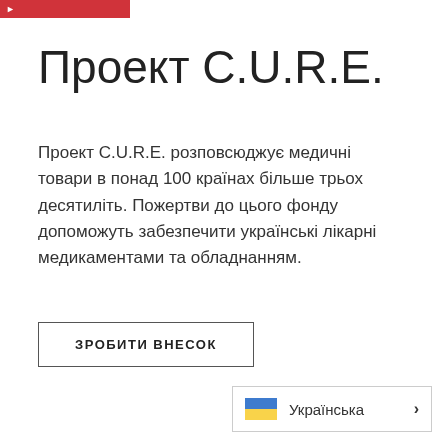►
Проект C.U.R.E.
Проект C.U.R.E. розповсюджує медичні товари в понад 100 країнах більше трьох десятиліть. Пожертви до цього фонду допоможуть забезпечити українські лікарні медикаментами та обладнанням.
ЗРОБИТИ ВНЕСОК
Українська